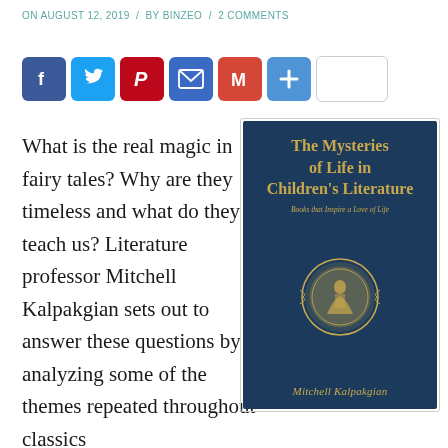ON AUGUST 12, 2019 / BY BINZEO / 2 COMMENTS
[Figure (other): Social media share buttons: Facebook, Twitter, Pinterest, Email, Gmail, Plus, and an empty share box]
What is the real magic in fairy tales? Why are they timeless and what do they teach us? Literature professor Mitchell Kalpakgian sets out to answer these questions by analyzing some of the themes repeated throughout classics
[Figure (illustration): Book cover of 'The Mysteries of Life in Children's Literature: Books that Inspire a Love of Life' by Mitchell Kalpakgian. Dark navy blue cover with gold ornamental medallion illustration and gold text.]